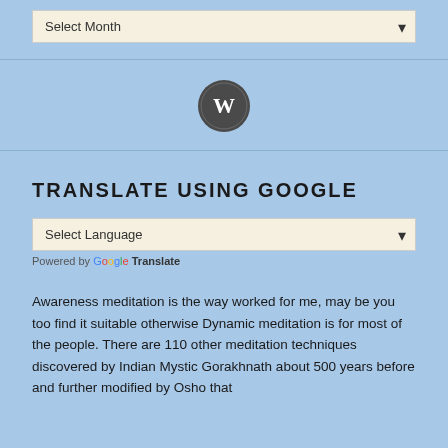[Figure (screenshot): A dropdown select box with 'Select Month' text and a down arrow, styled with a beige/cream background on a light blue page background.]
[Figure (logo): WordPress logo icon — circular dark gray button with the WordPress 'W' symbol in white.]
TRANSLATE USING GOOGLE
[Figure (screenshot): A dropdown select box with 'Select Language' text and a down arrow, styled with a beige/cream background.]
Powered by Google Translate
Awareness meditation is the way worked for me, may be you too find it suitable otherwise Dynamic meditation is for most of the people. There are 110 other meditation techniques discovered by Indian Mystic Gorakhnath about 500 years before and further modified by Osho that